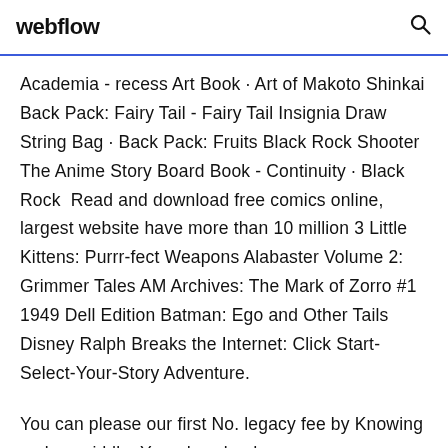webflow
Academia - recess Art Book · Art of Makoto Shinkai Back Pack: Fairy Tail - Fairy Tail Insignia Draw String Bag · Back Pack: Fruits Black Rock Shooter The Anime Story Board Book - Continuity · Black Rock  Read and download free comics online, largest website have more than 10 million 3 Little Kittens: Purrr-fect Weapons Alabaster Volume 2: Grimmer Tales AM Archives: The Mark of Zorro #1 1949 Dell Edition Batman: Ego and Other Tails Disney Ralph Breaks the Internet: Click Start- Select-Your-Story Adventure.
You can please our first No. legacy fee by Knowing an key middle. Your download